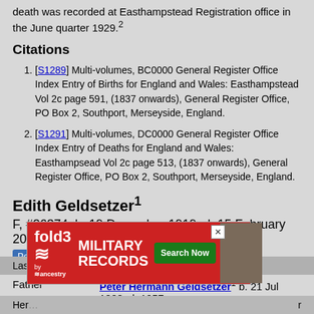death was recorded at Easthampstead Registration office in the June quarter 1929.²
Citations
[S1289] Multi-volumes, BC0000 General Register Office Index Entry of Births for England and Wales: Easthampstead Vol 2c page 591, (1837 onwards), General Register Office, PO Box 2, Southport, Merseyside, England.
[S1291] Multi-volumes, DC0000 General Register Office Index Entry of Deaths for England and Wales: Easthampsead Vol 2c page 513, (1837 onwards), General Register Office, PO Box 2, Southport, Merseyside, England.
Edith Geldsetzer¹
F, #26374, b. 19 December 1919, d. 15 February 2018
Pop-up Pedigree
| Role | Person |
| --- | --- |
| Father | Peter Hermann Geldsetzer¹ b. 21 Jul 1888, d. 1957 |
| Mother | Emily Eliza Bush¹ b. 1888, d. 1932 |
Last Ed...
[Figure (other): Fold3 Military Records advertisement banner with red background, soldier photo, and Search Now button]